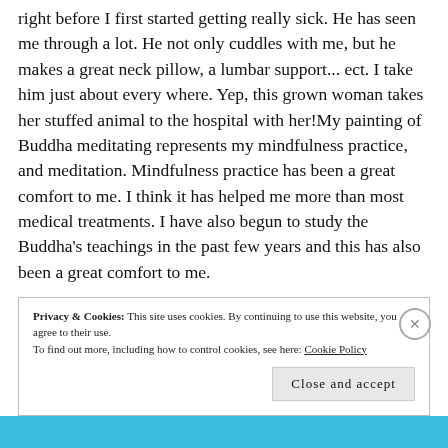right before I first started getting really sick. He has seen me through a lot. He not only cuddles with me, but he makes a great neck pillow, a lumbar support... ect. I take him just about every where. Yep, this grown woman takes her stuffed animal to the hospital with her!My painting of Buddha meditating represents my mindfulness practice, and meditation. Mindfulness practice has been a great comfort to me. I think it has helped me more than most medical treatments. I have also begun to study the Buddha's teachings in the past few years and this has also been a great comfort to me.
Privacy & Cookies: This site uses cookies. By continuing to use this website, you agree to their use. To find out more, including how to control cookies, see here: Cookie Policy